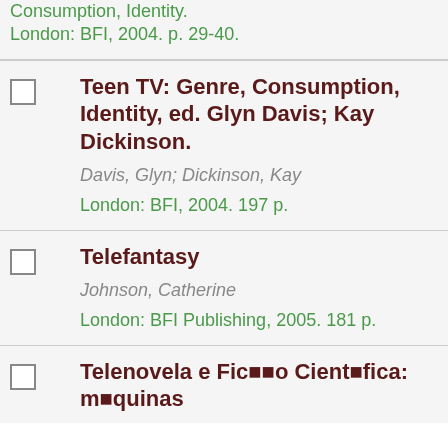Consumption, Identity. London: BFI, 2004. p. 29-40.
Teen TV: Genre, Consumption, Identity, ed. Glyn Davis; Kay Dickinson. Davis, Glyn; Dickinson, Kay. London: BFI, 2004. 197 p.
Telefantasy. Johnson, Catherine. London: BFI Publishing, 2005. 181 p.
Telenovela e Ficção Científica: máquinas